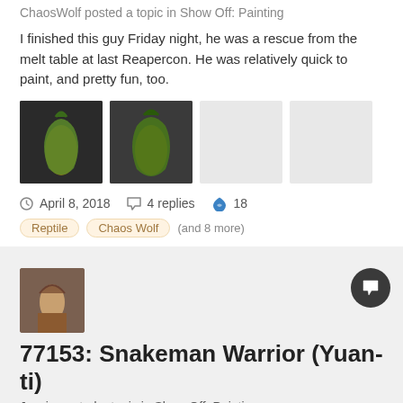ChaosWolf posted a topic in Show Off: Painting
I finished this guy Friday night, he was a rescue from the melt table at last Reapercon. He was relatively quick to paint, and pretty fun, too.
[Figure (photo): Four thumbnail images of painted miniature figures with snake-like features, two colored and two grey placeholder boxes]
April 8, 2018   4 replies   18
Reptile   Chaos Wolf   (and 8 more)
[Figure (photo): Avatar thumbnail of a painted miniature figure]
77153: Snakeman Warrior (Yuan-ti)
Jessie posted a topic in Show Off: Painting
I decided to paint up these guys like real snakes. So they are sort of based off of a king snake, a python, a diamondback, and a black
[Figure (photo): Row of thumbnail images of painted miniature snake warrior figures at the bottom of the page]